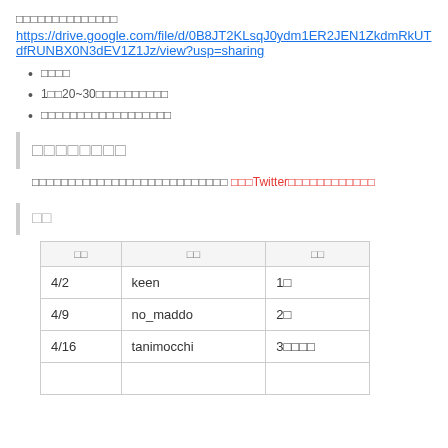□□□□□□□□□□□□□□
https://drive.google.com/file/d/0B8JT2KLsqJ0ydm1ER2JEN1ZkdmRkUTdfRUNBX0N3dEV1Z1Jz/view?usp=sharing
□□□□
1□□20~30□□□□□□□□□□
□□□□□□□□□□□□□□□□□□
□□□□□□□□
□□□□□□□□□□□□□□□□□□□□□□□□□□□ □□□Twitter□□□□□□□□□□□□
□□
| □□ | □□ | □□ |
| --- | --- | --- |
| 4/2 | keen | 1□ |
| 4/9 | no_maddo | 2□ |
| 4/16 | tanimocchi | 3□□□□ |